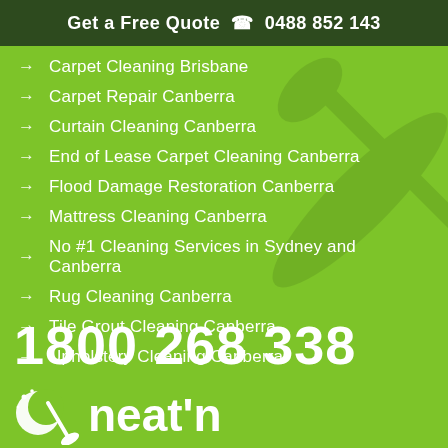Get a Free Quote ☎ 0488 852 143
Carpet Cleaning Brisbane
Carpet Repair Canberra
Curtain Cleaning Canberra
End of Lease Carpet Cleaning Canberra
Flood Damage Restoration Canberra
Mattress Cleaning Canberra
No #1 Cleaning Services in Sydney and Canberra
Rug Cleaning Canberra
Tile Grout Cleaning Canberra
Upholstery Cleaning Canberra
1800 268 338
[Figure (logo): Neat'n cleaning services logo with crescent moon and broom icon in white]